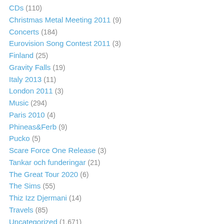CDs (110)
Christmas Metal Meeting 2011 (9)
Concerts (184)
Eurovision Song Contest 2011 (3)
Finland (25)
Gravity Falls (19)
Italy 2013 (11)
London 2011 (3)
Music (294)
Paris 2010 (4)
Phineas&Ferb (9)
Pucko (5)
Scare Force One Release (3)
Tankar och funderingar (21)
The Great Tour 2020 (6)
The Sims (55)
Thiz Izz Djermani (14)
Travels (85)
Uncategorized (1,671)
United States of America 2017 (14)